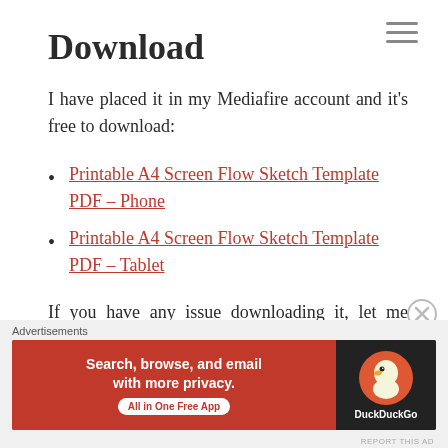Download
I have placed it in my Mediafire account and it's free to download:
Printable A4 Screen Flow Sketch Template PDF – Phone
Printable A4 Screen Flow Sketch Template PDF – Tablet
If you have any issue downloading it, let me know and I will send you a copy.
[Figure (infographic): DuckDuckGo advertisement banner: 'Search, browse, and email with more privacy. All in One Free App' with DuckDuckGo logo on dark background.]